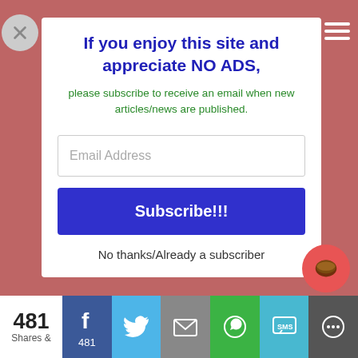If you enjoy this site and appreciate NO ADS,
please subscribe to receive an email when new articles/news are published.
Email Address
Subscribe!!!
No thanks/Already a subscriber
481
Shares &
481